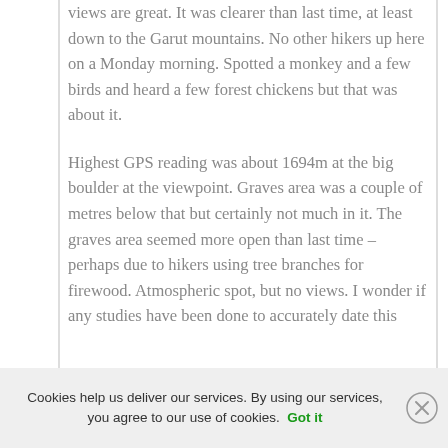views are great. It was clearer than last time, at least down to the Garut mountains. No other hikers up here on a Monday morning. Spotted a monkey and a few birds and heard a few forest chickens but that was about it.
Highest GPS reading was about 1694m at the big boulder at the viewpoint. Graves area was a couple of metres below that but certainly not much in it. The graves area seemed more open than last time – perhaps due to hikers using tree branches for firewood. Atmospheric spot, but no views. I wonder if any studies have been done to accurately date this
Cookies help us deliver our services. By using our services, you agree to our use of cookies. Got it